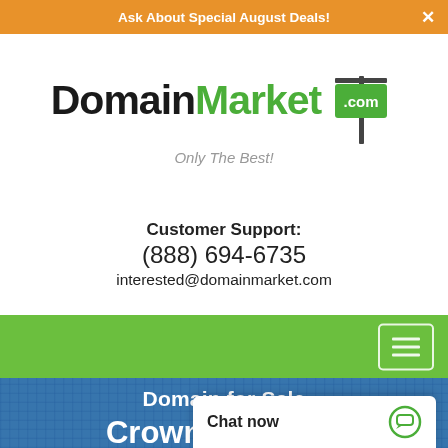Ask About Special August Deals!
[Figure (logo): DomainMarket.com logo with green sign icon and tagline 'Only The Best!']
Customer Support:
(888) 694-6735
interested@domainmarket.com
[Figure (other): Green navigation bar with hamburger menu icon]
Domain for Sale
CrownBeer.com
$94,888 USD (strikethrough price, partially visible)
Chat now